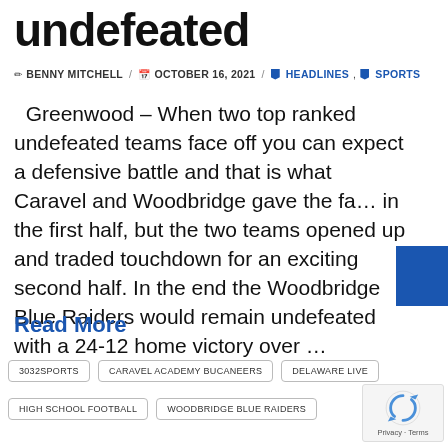undefeated
✏ BENNY MITCHELL / 📅 OCTOBER 16, 2021 / 🔖 HEADLINES, 🔖 SPORTS
Greenwood – When two top ranked undefeated teams face off you can expect a defensive battle and that is what Caravel and Woodbridge gave the fa… in the first half, but the two teams opened up and traded touchdown for an exciting second half. In the end the Woodbridge Blue Raiders would remain undefeated with a 24-12 home victory over …
Read More
3032SPORTS
CARAVEL ACADEMY BUCANEERS
DELAWARE LIVE
HIGH SCHOOL FOOTBALL
WOODBRIDGE BLUE RAIDERS